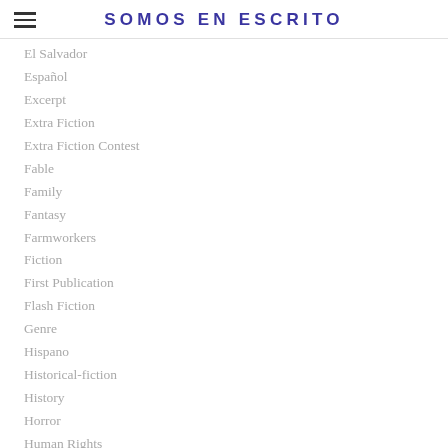SOMOS EN ESCRITO
El Salvador
Español
Excerpt
Extra Fiction
Extra Fiction Contest
Fable
Family
Fantasy
Farmworkers
Fiction
First Publication
Flash Fiction
Genre
Hispano
Historical-fiction
History
Horror
Human Rights